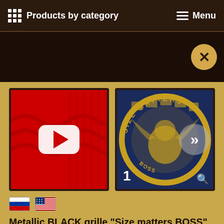Products by category   Menu
[Figure (screenshot): Dark strip with close (X) button on right]
[Figure (photo): YouTube video thumbnail showing red background with grille pattern and white YouTube play button]
[Figure (photo): Product image showing dark navy background with gold 'Size Matters BOSS' eagle logo design, navigation arrow overlay, number 1 badge, and search icon]
[Figure (illustration): Russian flag icon]
[Figure (illustration): US flag icon]
Metallic BLACK grille "Size matters BOSS" stainless steel for Suzuki Boulevard M109R / BOSS or Intruder VZR1800 /